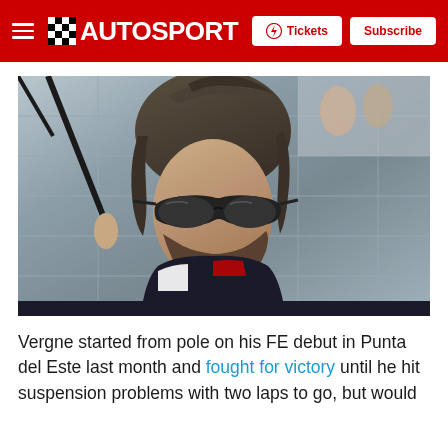AUTOSPORT — Tickets | Subscribe
[Figure (photo): Close-up portrait of a young male racing driver with dark hair and beard wearing aviator-style sunglasses and a racing suit, holding an umbrella, photographed outdoors at a motorsport venue.]
Vergne started from pole on his FE debut in Punta del Este last month and fought for victory until he hit suspension problems with two laps to go, but would